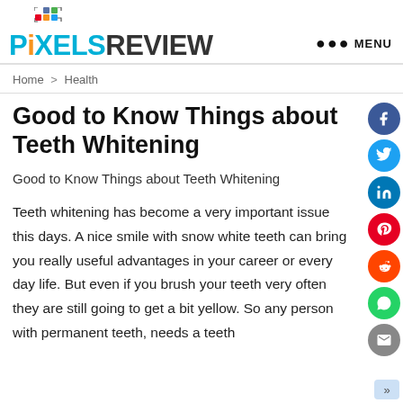PIXELS REVIEW — MENU
Home > Health
Good to Know Things about Teeth Whitening
Good to Know Things about Teeth Whitening
Teeth whitening has become a very important issue this days. A nice smile with snow white teeth can bring you really useful advantages in your career or every day life. But even if you brush your teeth very often they are still going to get a bit yellow. So any person with permanent teeth, needs a teeth